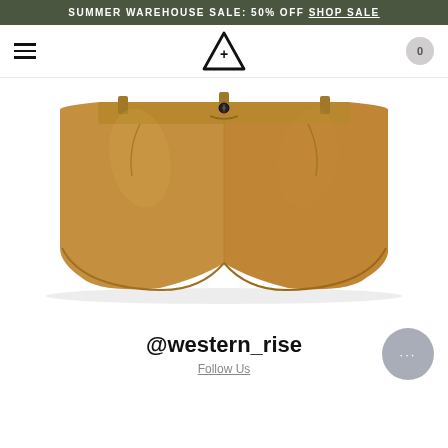SUMMER WAREHOUSE SALE: 50% OFF SHOP SALE
[Figure (screenshot): Navigation bar with hamburger menu on left, triangle logo with plus sign in center, and cart circle with 0 on right]
[Figure (photo): Tan/khaki cotton chino shorts laid flat on white background]
@western_rise
Follow Us